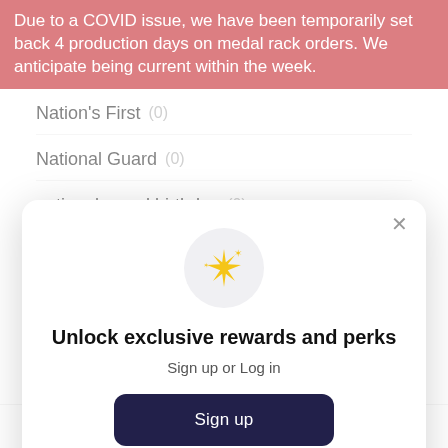Due to a COVID issue, we have been temporarily set back 4 production days on medal rack orders. We anticipate being current within the week.
Nation's First (0)
National Guard (0)
national guard birthday (0)
national guard birthday party (0)
[Figure (screenshot): Modal popup with sparkle icon, heading 'Unlock exclusive rewards and perks', subtext 'Sign up or Log in', a dark navy 'Sign up' button, and text 'Already have an account? Sign in']
naval rate insignia (0)